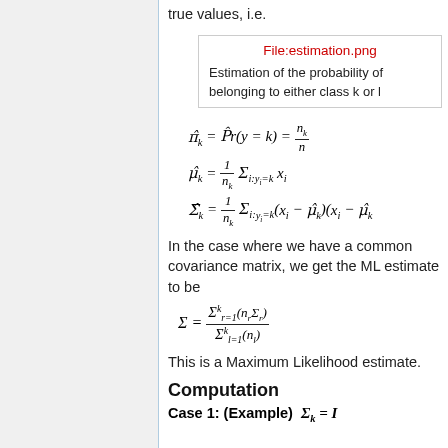true values, i.e.
[Figure (other): File:estimation.png placeholder box with caption: Estimation of the probability of belonging to either class k or l]
In the case where we have a common covariance matrix, we get the ML estimate to be
This is a Maximum Likelihood estimate.
Computation
Case 1: (Example)  Σ_k = I